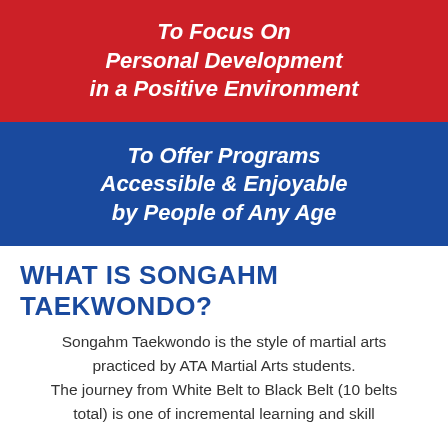To Focus On Personal Development in a Positive Environment
To Offer Programs Accessible & Enjoyable by People of Any Age
WHAT IS SONGAHM TAEKWONDO?
Songahm Taekwondo is the style of martial arts practiced by ATA Martial Arts students. The journey from White Belt to Black Belt (10 belts total) is one of incremental learning and skill